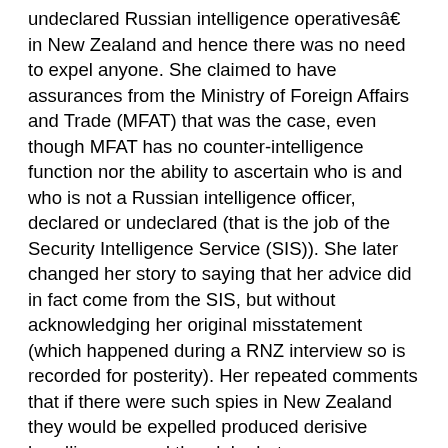Minister Judith Andrews' claim that there are no such undeclared Russian intelligence operativesâ€ in New Zealand and hence there was no need to expel anyone. She claimed to have assurances from the Ministry of Foreign Affairs and Trade (MFAT) that was the case, even though MFAT has no counter-intelligence function nor the ability to ascertain who is and who is not a Russian intelligence officer, declared or undeclared (that is the job of the Security Intelligence Service (SIS)). She later changed her story to saying that her advice did in fact come from the SIS, but without acknowledging her original misstatement (which happened during a RNZ interview so is recorded for posterity). Her repeated comments that if there were such spies in New Zealand they would be expelled produced derisive headlines around the globe but more importantly, raised questions about her competence when handling security matters.

Discussion in New Zealand about the issue has been